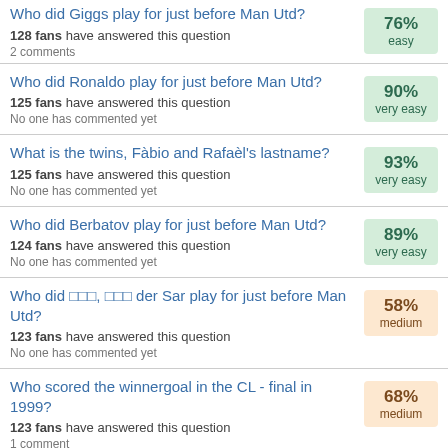Who did Giggs play for just before Man Utd?
128 fans have answered this question
2 comments
76% easy
Who did Ronaldo play for just before Man Utd?
125 fans have answered this question
No one has commented yet
90% very easy
What is the twins, Fàbio and Rafaèl's lastname?
125 fans have answered this question
No one has commented yet
93% very easy
Who did Berbatov play for just before Man Utd?
124 fans have answered this question
No one has commented yet
89% very easy
Who did van der Sar play for just before Man Utd?
123 fans have answered this question
No one has commented yet
58% medium
Who scored the winnergoal in the CL - final in 1999?
123 fans have answered this question
1 comment
68% medium
Who did Foster play for just before Man Utd? (not on loan)